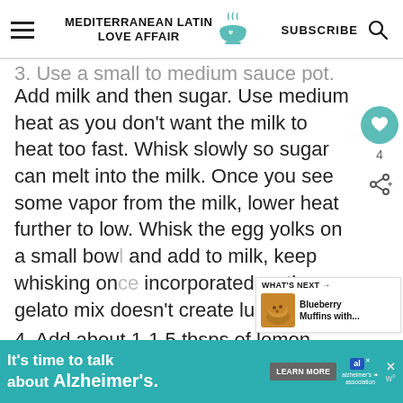MEDITERRANEAN LATIN LOVE AFFAIR — SUBSCRIBE
3. Use a small to medium sauce pot. Add milk and then sugar. Use medium heat as you don't want the milk to heat too fast. Whisk slowly so sugar can melt into the milk. Once you see some vapor from the milk, lower heat further to low. Whisk the egg yolks on a small bowl and add to milk, keep whisking once incorporated so the gelato mix doesn't create lumps.
4. Add about 1-1.5 tbsps of lemon
WHAT'S NEXT → Blueberry Muffins with...
It's time to talk about Alzheimer's. LEARN MORE